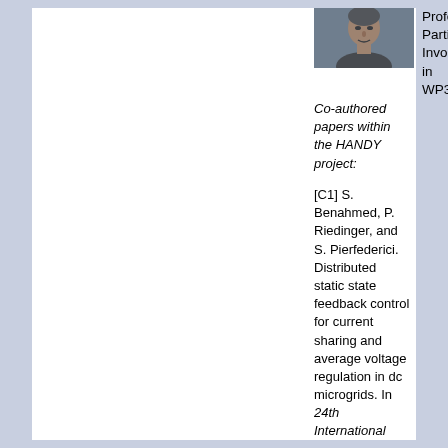[Figure (photo): Headshot photo of a man]
Professor Participant, Involved in WP3.
Co-authored papers within the HANDY project:
[C1] S. Benahmed, P. Riedinger, and S. Pierfederici. Distributed static state feedback control for current sharing and average voltage regulation in dc microgrids. In 24th International Symposium on Mathematical Theory of Networks and Systems, Cambridge, UK, 2021.
[C2] S. Benahmed, P. Riedinger, and S. Pierfederici. Distributed cooperative control...